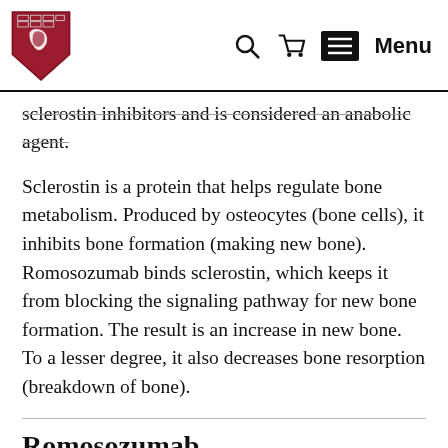Harvard Health Publishing — Search, Cart, Menu
sclerostin inhibitors and is considered an anabolic agent.
Sclerostin is a protein that helps regulate bone metabolism. Produced by osteocytes (bone cells), it inhibits bone formation (making new bone). Romosozumab binds sclerostin, which keeps it from blocking the signaling pathway for new bone formation. The result is an increase in new bone. To a lesser degree, it also decreases bone resorption (breakdown of bone).
Romosozumab...